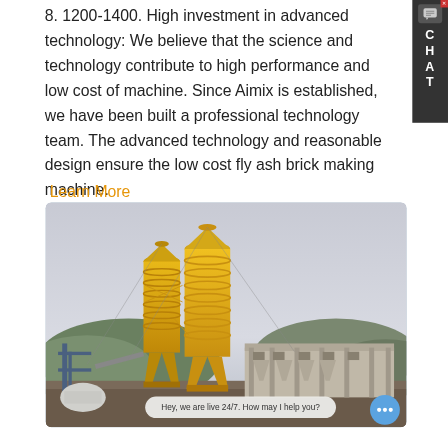8. 1200-1400. High investment in advanced technology: We believe that the science and technology contribute to high performance and low cost of machine. Since Aimix is established, we have been built a professional technology team. The advanced technology and reasonable design ensure the low cost fly ash brick making machine.
Learn More
[Figure (photo): Industrial concrete batching plant with two large yellow silos/tanks, metal framework structure, and conveyor systems against a backdrop of hills and hazy sky. A chat bubble overlay reads 'Hey, we are live 24/7. How may I help you?']